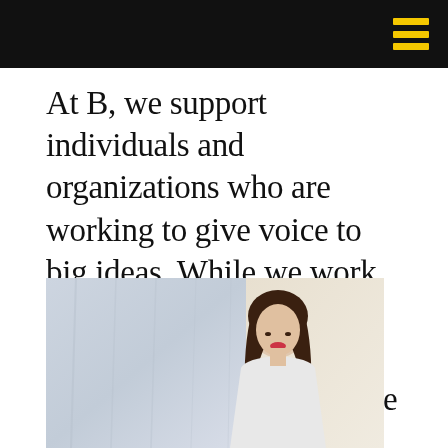At B, we support individuals and organizations who are working to give voice to big ideas. While we work with clients across industries, a shared sense of greater purpose is the tie that binds our agency to our clients.
[Figure (photo): A smiling woman with dark hair, wearing a light-colored top, photographed against a light background with soft drapery visible.]